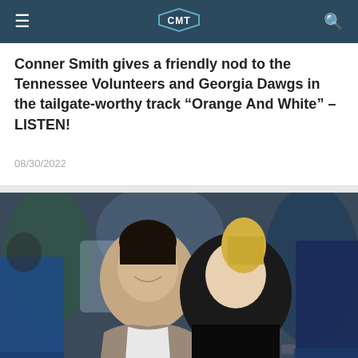CMT
Conner Smith gives a friendly nod to the Tennessee Volunteers and Georgia Dawgs in the tailgate-worthy track “Orange And White” – LISTEN!
08/30/2022
[Figure (photo): A couple smiling and posing together at what appears to be a music event. The man has dark hair and wears a gray blazer over a white shirt. The woman is blonde and wears a black velvet outfit.]
MORGAN EVANS BREAKS SILENCE ABOUT